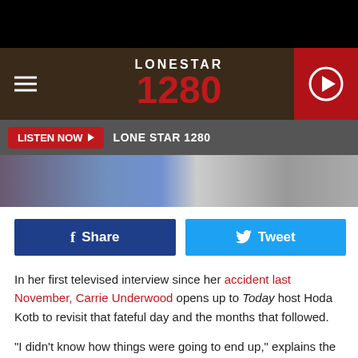[Figure (screenshot): Lone Star 1280 radio station website header with logo, hamburger menu, and play button]
LISTEN NOW ▶   LONE STAR 1280
[Figure (photo): Partial photo strip showing blue and grey tones]
f Share   🐦 Tweet
In her first televised interview since her accident last November, Carrie Underwood opens up to Today host Hoda Kotb to revisit that fateful day and the months that followed.
"I didn't know how things were going to end up," explains the singer, who broke her wrist and received more than 40 stitches around her mouth as a result of a fall on the steps outside of her Nashville-area home. "It just wasn't pretty. I